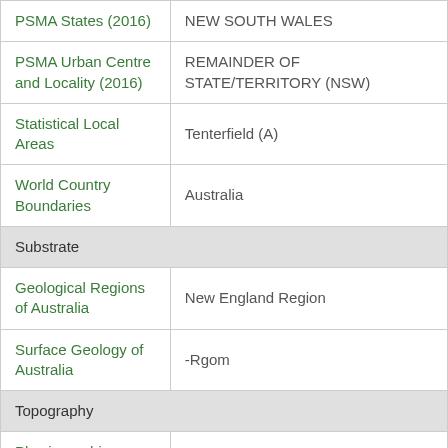| Category | Value |
| --- | --- |
| PSMA States (2016) | NEW SOUTH WALES |
| PSMA Urban Centre and Locality (2016) | REMAINDER OF STATE/TERRITORY (NSW) |
| Statistical Local Areas | Tenterfield (A) |
| World Country Boundaries | Australia |
| Substrate |  |
| Geological Regions of Australia | New England Region |
| Surface Geology of Australia | -Rgom |
| Topography |  |
| Physiographic Provinces of Australia | New England-Moreton Uplands Province |
| Physiographic Regions 2011 | Tenterfield Plateau |
| Vegetation |  |